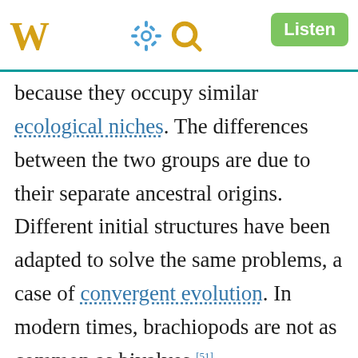W [Wikipedia logo] [gear icon] [search icon] Listen
because they occupy similar ecological niches. The differences between the two groups are due to their separate ancestral origins. Different initial structures have been adapted to solve the same problems, a case of convergent evolution. In modern times, brachiopods are not as common as bivalves.[51] Both groups have a shell consisting of two valves, but the organization of the